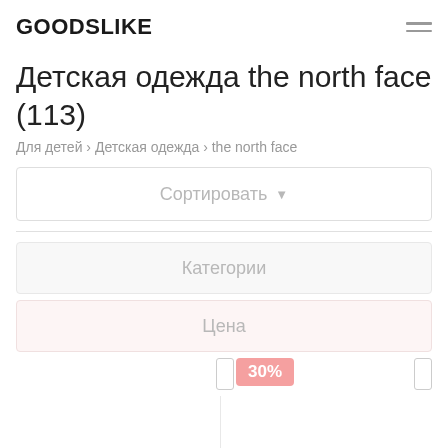GOODSLIKE
Детская одежда the north face (113)
Для детей › Детская одежда › the north face
Сортировать
Категории
Цена
[Figure (other): Price range slider with 30% badge, two product image columns below]